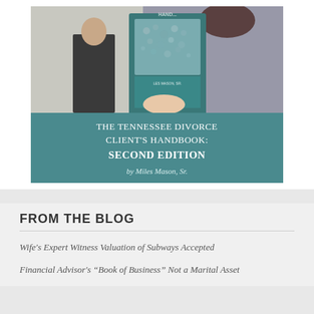[Figure (photo): Photo of a woman holding a book titled 'The Tennessee Divorce Client's Handbook' by Miles Mason Sr., with a man in background. The book cover has a teal/green design with a pebble/stone beach image. Below the photo portion is a teal banner with the book title and author text.]
FROM THE BLOG
Wife's Expert Witness Valuation of Subways Accepted
Financial Advisor's “Book of Business” Not a Marital Asset